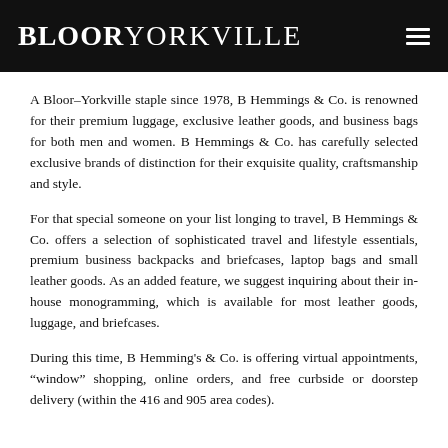BLOORYORKVILLE
A Bloor–Yorkville staple since 1978, B Hemmings & Co. is renowned for their premium luggage, exclusive leather goods, and business bags for both men and women. B Hemmings & Co. has carefully selected exclusive brands of distinction for their exquisite quality, craftsmanship and style.
For that special someone on your list longing to travel, B Hemmings & Co. offers a selection of sophisticated travel and lifestyle essentials, premium business backpacks and briefcases, laptop bags and small leather goods. As an added feature, we suggest inquiring about their in-house monogramming, which is available for most leather goods, luggage, and briefcases.
During this time, B Hemming's & Co. is offering virtual appointments, “window” shopping, online orders, and free curbside or doorstep delivery (within the 416 and 905 area codes).